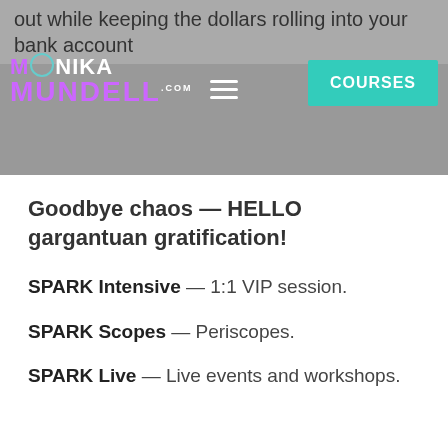out while keeping the dollars rolling into your bank account
[Figure (logo): Monika Mundell .com logo with teal circle icon, purple and white text]
Goodbye chaos — HELLO gargantuan gratification!
SPARK Intensive — 1:1 VIP session.
SPARK Scopes — Periscopes.
SPARK Live — Live events and workshops.